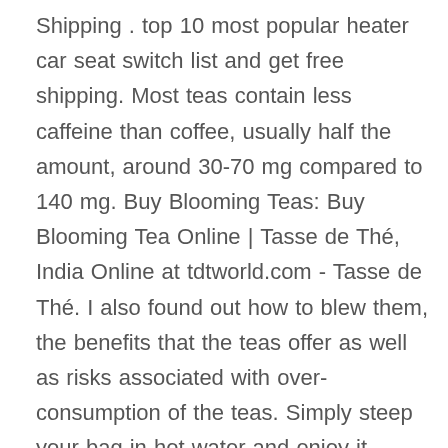Shipping . top 10 most popular heater car seat switch list and get free shipping. Most teas contain less caffeine than coffee, usually half the amount, around 30-70 mg compared to 140 mg. Buy Blooming Teas: Buy Blooming Tea Online | Tasse de Thé, India Online at tdtworld.com - Tasse de Thé. I also found out how to blew them, the benefits that the teas offer as well as risks associated with over-consumption of the teas. Simply steep your bag in hot water and enjoy it. instagram takipçi satın al - Finest quality green tea buds and tender leaves are hand picked and put in the natural process which is used to produce green tea. This is a sachet bagged tea that is easy to make. With its mellow green tea flavor and soothing aroma, we love sipping Bigelow in the morning for a healthy antioxidant boost. Combining jasmine flowers with green tea gives this blend a nice floral taste. Popular